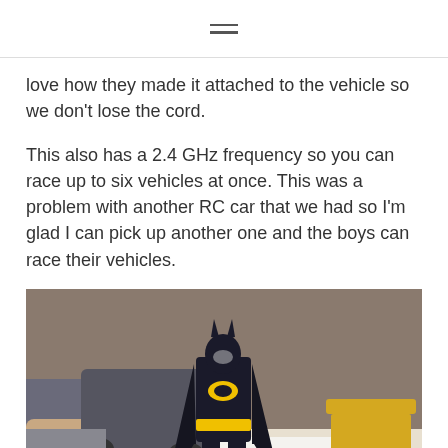≡
love how they made it attached to the vehicle so we don't lose the cord.
This also has a 2.4 GHz frequency so you can race up to six vehicles at once. This was a problem with another RC car that we had so I'm glad I can pick up another one and the boys can race their vehicles.
[Figure (photo): A Batman action figure standing on a white surface, with a hand holding an RC car/vehicle in the background left, and a yellow chair visible on the right. The setting appears to be indoors on a table.]